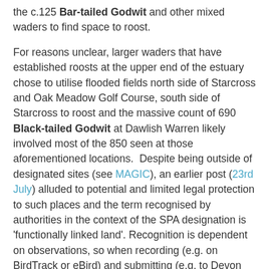the c.125 Bar-tailed Godwit and other mixed waders to find space to roost.
For reasons unclear, larger waders that have established roosts at the upper end of the estuary chose to utilise flooded fields north side of Starcross and Oak Meadow Golf Course, south side of Starcross to roost and the massive count of 690 Black-tailed Godwit at Dawlish Warren likely involved most of the 850 seen at those aforementioned locations. Despite being outside of designated sites (see MAGIC), an earlier post (23rd July) alluded to potential and limited legal protection to such places and the term recognised by authorities in the context of the SPA designation is 'functionally linked land'. Recognition is dependent on observations, so when recording (e.g. on BirdTrack or eBird) and submitting (e.g. to Devon Birds), an accurate location is really important to note in addition the core site, which here is 'Exe Estuary'.
A walk through the woods noted 11 Long-tailed Tit, four Goldcrest, two Chiffchaff, a Great Spotted Woodpecker and a Bullfinch. On Main Pond, four Shoveler (♂♂, imm